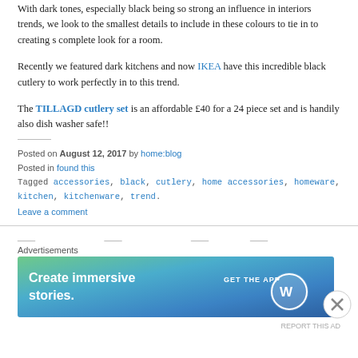With dark tones, especially black being so strong an influence in interiors trends, we look to the smallest details to include in these colours to tie in to creating s complete look for a room.
Recently we featured dark kitchens and now IKEA have this incredible black cutlery to work perfectly in to this trend.
The TILLAGD cutlery set is an affordable £40 for a 24 piece set and is handily also dish washer safe!!
Posted on August 12, 2017 by home:blog
Posted in found this
Tagged accessories, black, cutlery, home accessories, homeware, kitchen, kitchenware, trend.
Leave a comment
[Figure (infographic): WordPress advertisement banner with gradient background (green to blue), text 'Create immersive stories.' on left, 'GET THE APP' button with WordPress logo on right, and a close (X) button overlay.]